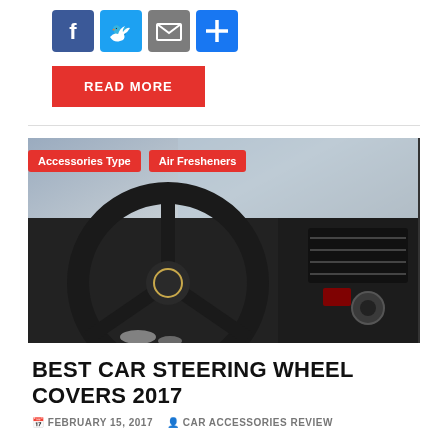[Figure (infographic): Social sharing icons: Facebook (blue), Twitter (blue), Email (grey envelope), Share (blue plus)]
READ MORE
[Figure (photo): Close-up photo of a dark car interior showing a MINI steering wheel and dashboard controls]
Accessories Type   Air Fresheners
BEST CAR STEERING WHEEL COVERS 2017
FEBRUARY 15, 2017   CAR ACCESSORIES REVIEW